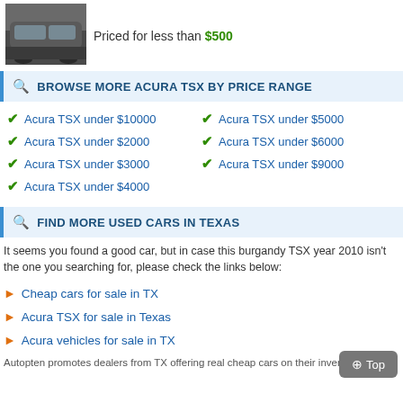[Figure (photo): Photo of a dark-colored Acura TSX car, partial rear/side view]
Priced for less than $500
BROWSE MORE ACURA TSX BY PRICE RANGE
Acura TSX under $10000
Acura TSX under $5000
Acura TSX under $2000
Acura TSX under $6000
Acura TSX under $3000
Acura TSX under $9000
Acura TSX under $4000
FIND MORE USED CARS IN TEXAS
It seems you found a good car, but in case this burgandy TSX year 2010 isn't the one you searching for, please check the links below:
Cheap cars for sale in TX
Acura TSX for sale in Texas
Acura vehicles for sale in TX
Autopten promotes dealers from TX offering real cheap cars on their inventories, e.g